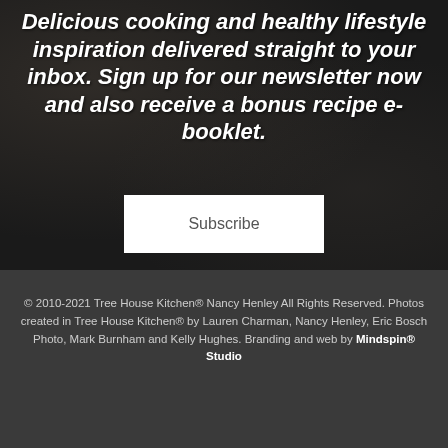Delicious cooking and healthy lifestyle inspiration delivered straight to your inbox. Sign up for our newsletter now and also receive a bonus recipe e-booklet.
Subscribe
© 2010-2021 Tree House Kitchen® Nancy Henley All Rights Reserved. Photos created in Tree House Kitchen® by Lauren Charman, Nancy Henley, Eric Bosch Photo, Mark Burnham and Kelly Hughes. Branding and web by Mindspin® Studio